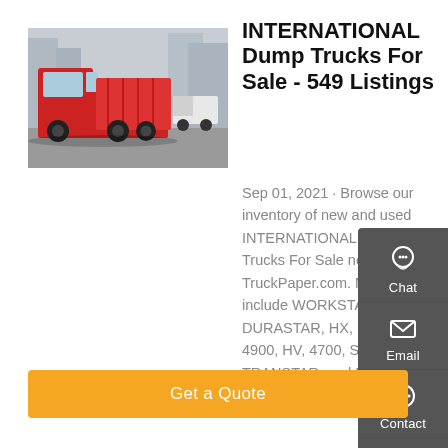[Figure (photo): Red INTERNATIONAL dump truck parked on a street with urban buildings in the background]
INTERNATIONAL Dump Trucks For Sale - 549 Listings
Sep 01, 2021 · Browse our inventory of new and used INTERNATIONAL Dump Trucks For Sale near you at TruckPaper.com. Models include WORKSTAR, DURASTAR, HX, PAYSTAR, 4900, HV, 4700, S2500, TRANSTAR, and PROSTAR. Page 1 of 22.
[Figure (infographic): Dark grey side panel with Chat, Email, Contact, and Top navigation buttons with icons]